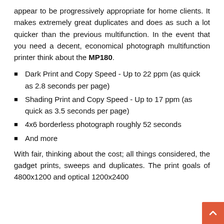appear to be progressively appropriate for home clients. It makes extremely great duplicates and does as such a lot quicker than the previous multifunction. In the event that you need a decent, economical photograph multifunction printer think about the MP180.
Dark Print and Copy Speed - Up to 22 ppm (as quick as 2.8 seconds per page)
Shading Print and Copy Speed - Up to 17 ppm (as quick as 3.5 seconds per page)
4x6 borderless photograph roughly 52 seconds
And more
With fair, thinking about the cost; all things considered, the gadget prints, sweeps and duplicates. The print goals of 4800x1200 and optical 1200x2400